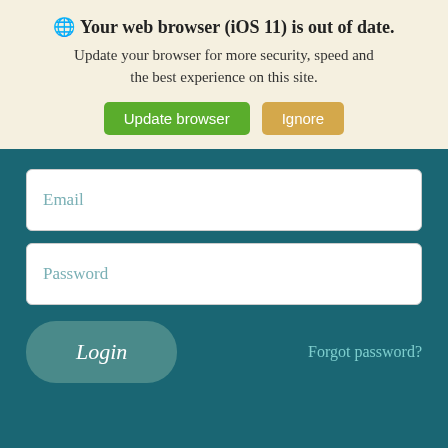🌐 Your web browser (iOS 11) is out of date. Update your browser for more security, speed and the best experience on this site.
Update browser
Ignore
Email
Password
Login
Forgot password?
©2020 St. Joseph's Health System, All Rights Reserved